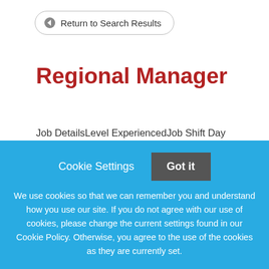← Return to Search Results
Regional Manager
Job DetailsLevel ExperiencedJob Shift Day Monday - FridayDescription At BH Management Services, we are committed to creating value. We acquire, improve and manage apartment communities, and our success in this
Cookie Settings   Got it

We use cookies so that we can remember you and understand how you use our site. If you do not agree with our use of cookies, please change the current settings found in our Cookie Policy. Otherwise, you agree to the use of the cookies as they are currently set.